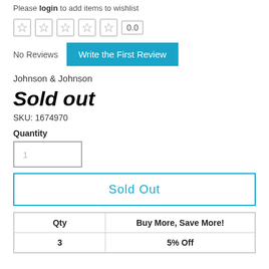Please login to add items to wishlist
0.0
No Reviews
Write the First Review
Johnson & Johnson
Sold out
SKU: 1674970
Quantity
1
Sold Out
| Qty | Buy More, Save More! |
| --- | --- |
| 3 | 5% Off |